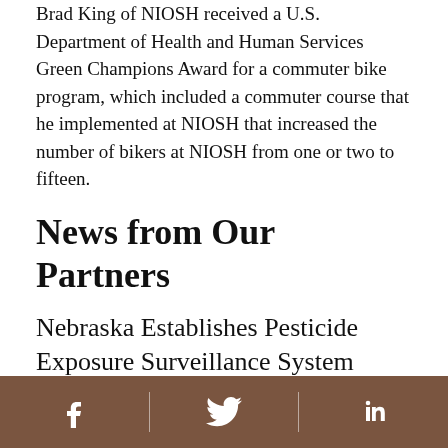Brad King of NIOSH received a U.S. Department of Health and Human Services Green Champions Award for a commuter bike program, which included a commuter course that he implemented at NIOSH that increased the number of bikers at NIOSH from one or two to fifteen.
News from Our Partners
Nebraska Establishes Pesticide Exposure Surveillance System
The Nebraska Occupational Health Surveillance Program is partnering with the Nebraska Regional Poison Center to develop a pesticide exposure
[Facebook] [Twitter] [LinkedIn]